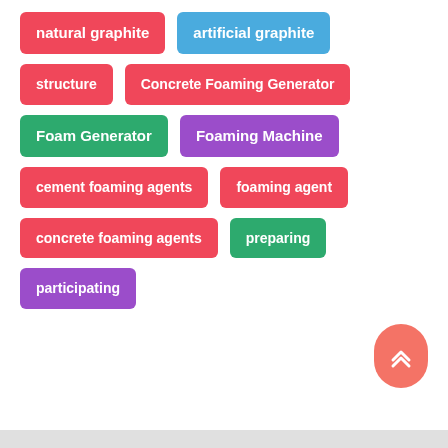natural graphite
artificial graphite
structure
Concrete Foaming Generator
Foam Generator
Foaming Machine
cement foaming agents
foaming agent
concrete foaming agents
preparing
participating
[Figure (other): Scroll-to-top floating action button with double chevron up icon]